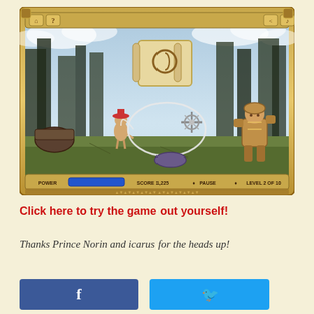[Figure (screenshot): A fantasy browser game screenshot showing small warrior characters in a forest setting with a UI bar at the bottom showing POWER, SCORE 1,225, PAUSE, LEVEL 2 OF 10. A lasso/whip attack is shown mid-motion. The game has a decorative parchment/golden border frame with sky and clouds background.]
Click here to try the game out yourself!
Thanks Prince Norin and icarus for the heads up!
[Figure (other): Facebook share button (blue)]
[Figure (other): Twitter share button (light blue)]